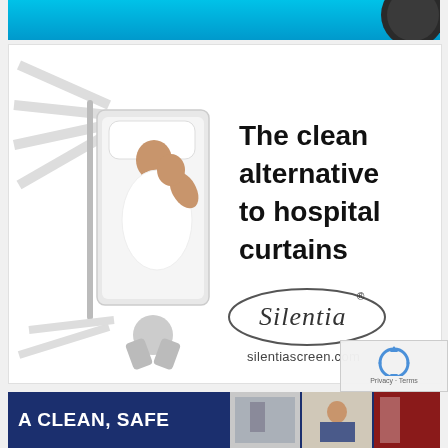[Figure (advertisement): Top banner advertisement with cyan/blue gradient background and dark circular element on right]
[Figure (advertisement): Silentia advertisement showing aerial view of hospital bed with patient and nurse surrounded by a curved privacy screen panel (shown from above). Text reads 'The clean alternative to hospital curtains' with Silentia logo and silentiascreen.com URL. White background.]
[Figure (advertisement): Bottom banner advertisement with dark navy blue background, text 'A CLEAN, SAFE' in white bold letters on left, and photos of hospital/medical setting on right]
[Figure (other): reCAPTCHA widget overlay showing spinning arrows icon with 'Privacy · Terms' text]